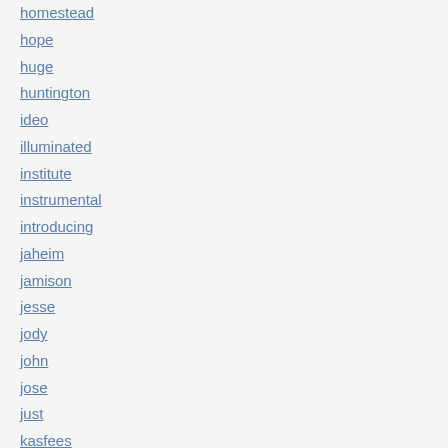homestead
hope
huge
huntington
ideo
illuminated
institute
instrumental
introducing
jaheim
jamison
jesse
jody
john
jose
just
kasfees
kent
kenyans
kirkland